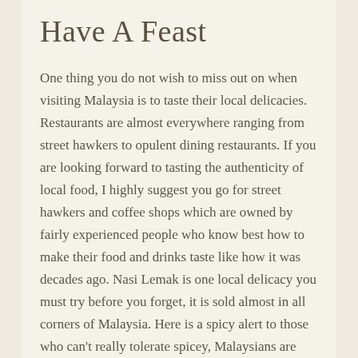Have A Feast
One thing you do not wish to miss out on when visiting Malaysia is to taste their local delicacies. Restaurants are almost everywhere ranging from street hawkers to opulent dining restaurants. If you are looking forward to tasting the authenticity of local food, I highly suggest you go for street hawkers and coffee shops which are owned by fairly experienced people who know best how to make their food and drinks taste like how it was decades ago. Nasi Lemak is one local delicacy you must try before you forget, it is sold almost in all corners of Malaysia. Here is a spicy alert to those who can't really tolerate spicey, Malaysians are typically fond of eating spicy food that is why you can observe chili or chili paste at the side of our dish for us to pair it with our main course. It just hits differently